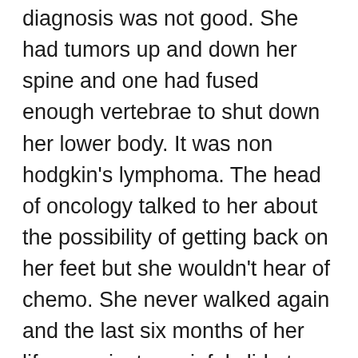diagnosis was not good. She had tumors up and down her spine and one had fused enough vertebrae to shut down her lower body. It was non hodkin's lymphoma. The head of oncology talked to her about the possibility of getting back on her feet but she wouldn't hear of chemo. She never walked again and the last six months of her life were just a painful slide to the end. We conversed when we could, laughed at some memories, fed her when she was hungry, suffered with her suffering, listened to her complaining. Women came in to pray and meditate with her. Her poor father showed up every day.